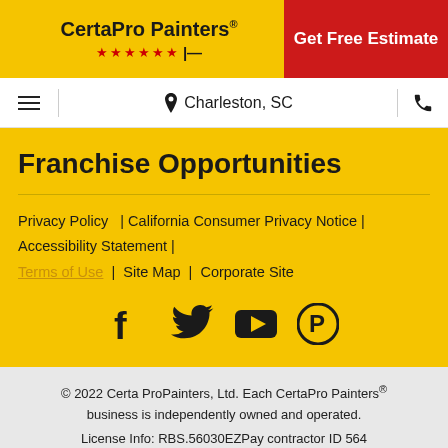CertaPro Painters® | Get Free Estimate | Charleston, SC
Franchise Opportunities
Privacy Policy | California Consumer Privacy Notice | Accessibility Statement | Terms of Use | Site Map | Corporate Site
[Figure (illustration): Social media icons: Facebook, Twitter, YouTube, Pinterest]
© 2022 Certa ProPainters, Ltd. Each CertaPro Painters® business is independently owned and operated. License Info: RBS.56030EZPay contractor ID 564